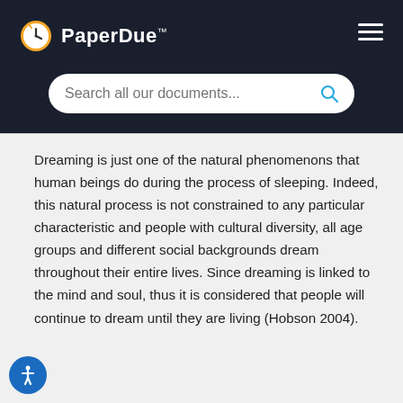PaperDue™
Dreaming is just one of the natural phenomenons that human beings do during the process of sleeping. Indeed, this natural process is not constrained to any particular characteristic and people with cultural diversity, all age groups and different social backgrounds dream throughout their entire lives. Since dreaming is linked to the mind and soul, thus it is considered that people will continue to dream until they are living (Hobson 2004).